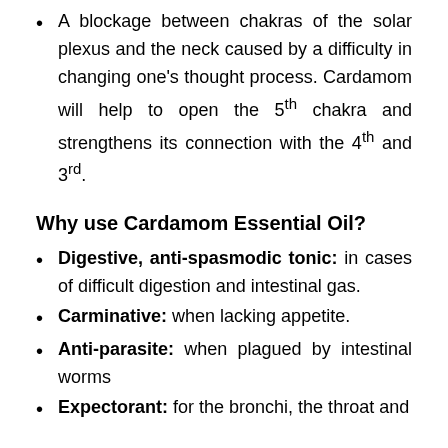A blockage between chakras of the solar plexus and the neck caused by a difficulty in changing one’s thought process. Cardamom will help to open the 5th chakra and strengthens its connection with the 4th and 3rd.
Why use Cardamom Essential Oil?
Digestive, anti-spasmodic tonic: in cases of difficult digestion and intestinal gas.
Carminative: when lacking appetite.
Anti-parasite: when plagued by intestinal worms
Expectorant: for the bronchi, the throat and